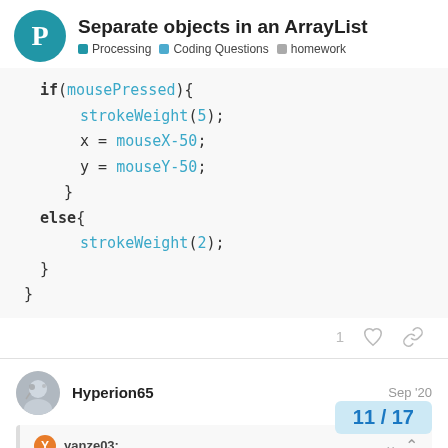Separate objects in an ArrayList | Processing | Coding Questions | homework
[Figure (screenshot): Code block showing if/else statements with mousePressed, strokeWeight, mouseX-50, mouseY-50]
1 (likes) reaction icons
Hyperion65  Sep '20
yanze03: for (int i = tegenstanders.size() - 1; i >
11 / 17